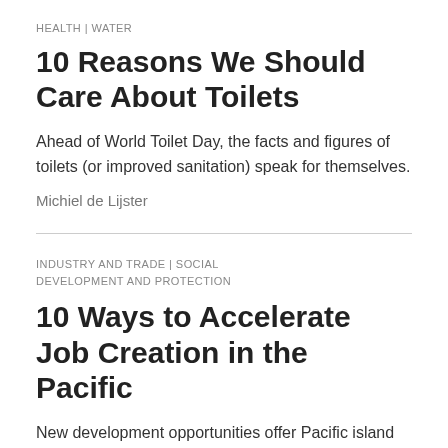HEALTH | WATER
10 Reasons We Should Care About Toilets
Ahead of World Toilet Day, the facts and figures of toilets (or improved sanitation) speak for themselves.
Michiel de Lijster
INDUSTRY AND TRADE | SOCIAL DEVELOPMENT AND PROTECTION
10 Ways to Accelerate Job Creation in the Pacific
New development opportunities offer Pacific island countries the chance to leverage their unique potential to help the private sector create enough decent,